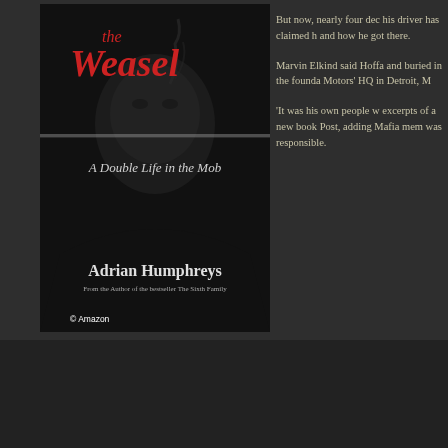[Figure (photo): Book cover for 'the Weasel: A Double Life in the Mob' by Adrian Humphreys, showing a dark noir-style cover with a shadowy face, red title text, and Amazon copyright mark]
But now, nearly four dec his driver has claimed h and how he got there.
Marvin Elkind said Hoffa and buried in the founda Motors' HQ in Detroit, M
'It was his own people w excerpts of a new book Post, adding Mafia mem was responsible.